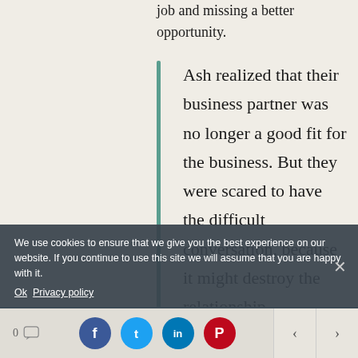job and missing a better opportunity.
Ash realized that their business partner was no longer a good fit for the business. But they were scared to have the difficult conversation, because it might destroy the relationship.
Look carefully. All those fears are about something that isn't happening in front of you. Every one.
We use cookies to ensure that we give you the best experience on our website. If you continue to use this site we will assume that you are happy with it.